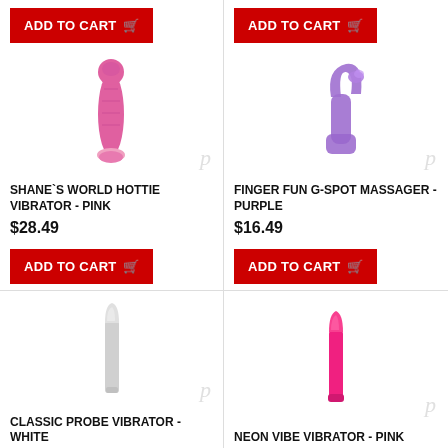[Figure (photo): Pink vibrator product image - SHANE'S WORLD HOTTIE VIBRATOR - PINK]
SHANE`S WORLD HOTTIE VIBRATOR - PINK
$28.49
[Figure (photo): Purple finger G-spot massager product image - FINGER FUN G-SPOT MASSAGER - PURPLE]
FINGER FUN G-SPOT MASSAGER - PURPLE
$16.49
[Figure (photo): White classic probe vibrator product image - CLASSIC PROBE VIBRATOR - WHITE]
CLASSIC PROBE VIBRATOR - WHITE
[Figure (photo): Pink neon vibe vibrator product image - NEON VIBE VIBRATOR - PINK]
NEON VIBE VIBRATOR - PINK